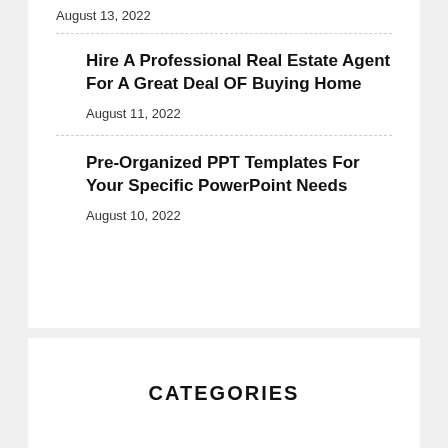August 13, 2022
Hire A Professional Real Estate Agent For A Great Deal OF Buying Home
August 11, 2022
Pre-Organized PPT Templates For Your Specific PowerPoint Needs
August 10, 2022
CATEGORIES